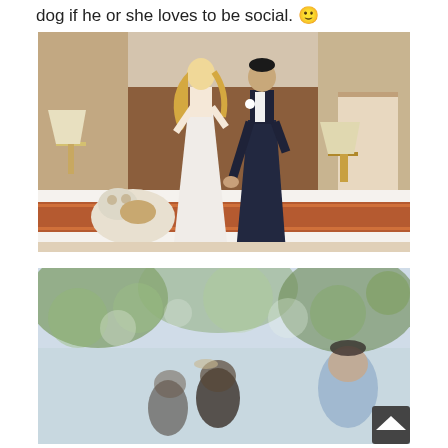dog if he or she loves to be social. 🙂
[Figure (photo): A bride in a white dress and groom in a dark suit playing with a bulldog on a bed in a hotel room. The couple appears to be laughing and jumping/dancing while the dog rolls around on the patterned bedspread.]
[Figure (photo): A blurred outdoor scene with trees in background and people in the foreground, appears to be a wedding ceremony. A man in a light blue shirt is visible on the right side.]